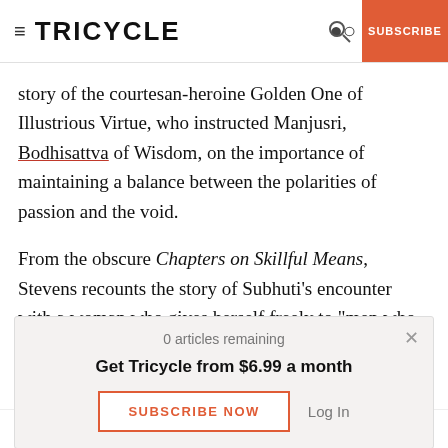TRICYCLE | SUBSCRIBE
story of the courtesan-heroine Golden One of Illustrious Virtue, who instructed Manjusri, Bodhisattva of Wisdom, on the importance of maintaining a balance between the polarities of passion and the void.
From the obscure Chapters on Skillful Means, Stevens recounts the story of Subhuti’s encounter with a woman who gives herself freely to “men who
0 articles remaining
Get Tricycle from $6.99 a month
SUBSCRIBE NOW
Log In
Elsewhere, Stevens stares plain old-fashioned